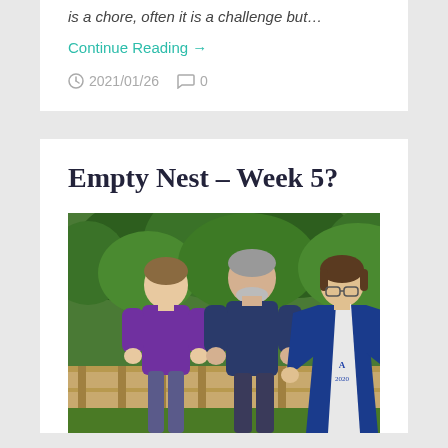is a chore, often it is a challenge but…
Continue Reading →
2021/01/26  0
Empty Nest – Week 5?
[Figure (photo): Three people standing outdoors in front of trees and a wooden fence. Left person wears a purple polo shirt, center person wears a dark blue polo shirt, right person wears a blue graduation gown with a white sash marked 'A 2020'.]